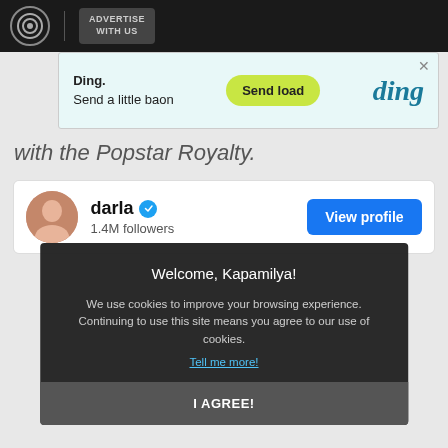ADVERTISE WITH US
[Figure (screenshot): Ding advertisement banner: 'Ding. Send a little baon' with 'Send load' button and Ding logo]
with the Popstar Royalty.
darla · 1.4M followers
[Figure (screenshot): View profile button (blue) for darla's social media profile with 1.4M followers]
[Figure (photo): Woman laughing/smiling, covering mouth with hand, wearing colorful outfit, against dark red background]
Welcome, Kapamilya!
We use cookies to improve your browsing experience. Continuing to use this site means you agree to our use of cookies.
Tell me more!
I AGREE!